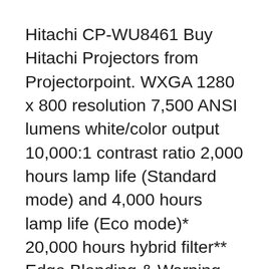Hitachi CP-WU8461 Buy Hitachi Projectors from Projectorpoint. WXGA 1280 x 800 resolution 7,500 ANSI lumens white/color output 10,000:1 contrast ratio 2,000 hours lamp life (Standard mode) and 4,000 hours lamp life (Eco mode)* 20,000 hours hybrid filter** Edge Blending & Warping Seamless design Color Management HDCR / Accentualizer / Image Optimizer Portrait mode Four digital inputs: HDBaseT, HDMI x 2, display port Wide range of lens options, Hitachi Maxell Projector Reference Guide. We know that it might be confusing to try and figure out which Maxell model replaces your existing Hitachi projector or which